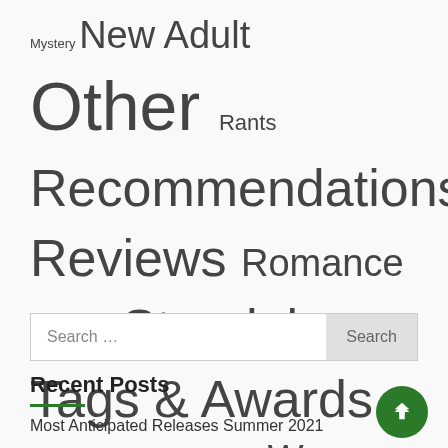Mystery New Adult Other Rants Recommendations Reviews Romance Science Fiction Standalones Tags & Awards Uncategorized Urban Fantasy Wrap-Ups Young Adult
Search ...
Recent Posts
Most Anticipated Releases Summer 2021